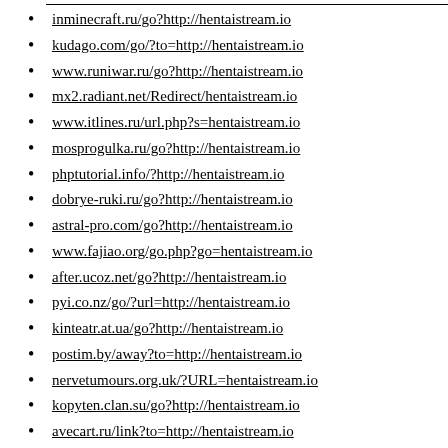inminecraft.ru/go?http://hentaistream.io
kudago.com/go/?to=http://hentaistream.io
www.runiwar.ru/go?http://hentaistream.io
mx2.radiant.net/Redirect/hentaistream.io
www.itlines.ru/url.php?s=hentaistream.io
mosprogulka.ru/go?http://hentaistream.io
phptutorial.info/?http://hentaistream.io
dobrye-ruki.ru/go?http://hentaistream.io
astral-pro.com/go?http://hentaistream.io
www.fajiao.org/go.php?go=hentaistream.io
after.ucoz.net/go?http://hentaistream.io
pyi.co.nz/go/?url=http://hentaistream.io
kinteatr.at.ua/go?http://hentaistream.io
postim.by/away?to=http://hentaistream.io
nervetumours.org.uk/?URL=hentaistream.io
kopyten.clan.su/go?http://hentaistream.io
avecart.ru/link?to=http://hentaistream.io
fundux.ru/goto?url=http://hentaistream.io
lrnews.ru/xgo.php?url=www.hentaistream.io